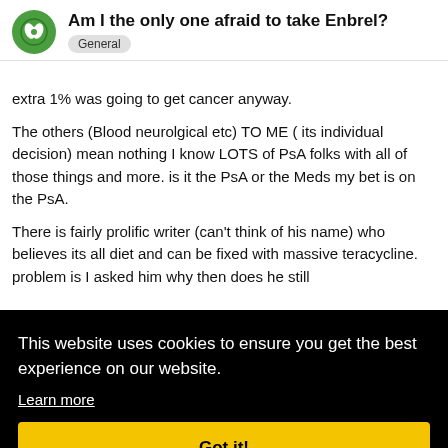Am I the only one afraid to take Enbrel?
extra 1% was going to get cancer anyway.
The others (Blood neurolgical etc) TO ME ( its individual decision) mean nothing I know LOTS of PsA folks with all of those things and more. is it the PsA or the Meds my bet is on the PsA.
There is fairly prolific writer (can't think of his name) who believes its all diet and can be fixed with massive teracycline. problem is I asked him why then does he still [...]e its [...] all of [...] ching
This website uses cookies to ensure you get the best experience on our website.
Learn more
Got it!
process you are going through to get [...] little to do with the side effect they d...